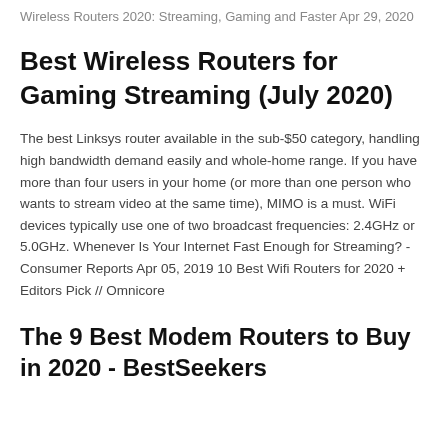Wireless Routers 2020: Streaming, Gaming and Faster Apr 29, 2020
Best Wireless Routers for Gaming Streaming (July 2020)
The best Linksys router available in the sub-$50 category, handling high bandwidth demand easily and whole-home range. If you have more than four users in your home (or more than one person who wants to stream video at the same time), MIMO is a must. WiFi devices typically use one of two broadcast frequencies: 2.4GHz or 5.0GHz. Whenever Is Your Internet Fast Enough for Streaming? - Consumer Reports Apr 05, 2019 10 Best Wifi Routers for 2020 + Editors Pick // Omnicore
The 9 Best Modem Routers to Buy in 2020 - BestSeekers